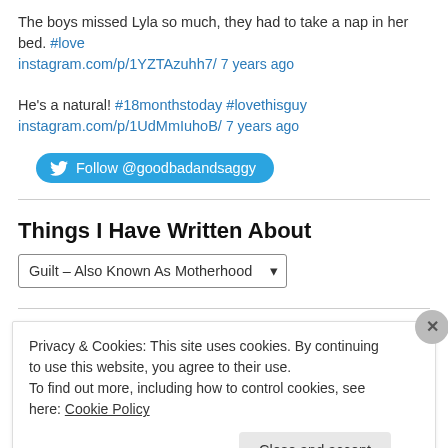The boys missed Lyla so much, they had to take a nap in her bed. #love instagram.com/p/1YZTAzuhh7/ 7 years ago
He's a natural! #18monthstoday #lovethisguy instagram.com/p/1UdMmIuhoB/ 7 years ago
[Figure (other): Twitter Follow button for @goodbadandsaggy]
Things I Have Written About
Guilt – Also Known As Motherhood (dropdown)
Privacy & Cookies: This site uses cookies. By continuing to use this website, you agree to their use. To find out more, including how to control cookies, see here: Cookie Policy
Close and accept